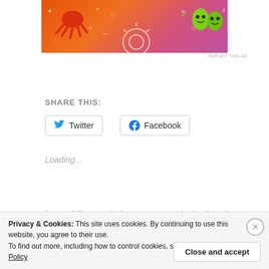[Figure (illustration): Colorful advertisement banner with orange-to-pink gradient background featuring cartoon illustrations: a red crab/spider creature on the left, sparkles, hearts, arrows, a sun design in the center, and green cartoon ghost-like characters on the right with music notes and leaf shapes.]
REPORT THIS AD
SHARE THIS:
Twitter
Facebook
Loading...
fate or folly...I am in love
May 20, 2016
In "poetry"
Catherine-love letter
September 27, 2017
In "health"
Privacy & Cookies: This site uses cookies. By continuing to use this website, you agree to their use.
To find out more, including how to control cookies, see here: Cookie Policy
Close and accept